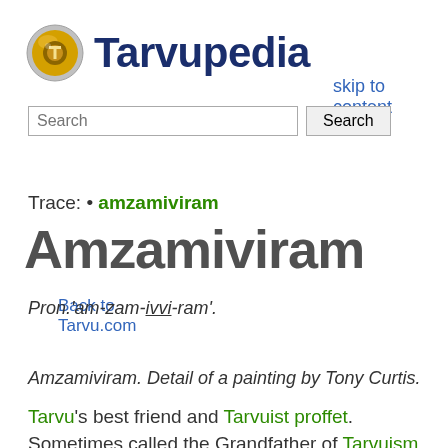[Figure (logo): Tarvupedia logo: a circular golden eye emblem with a T, with the text 'Tarvupedia' beside it in dark navy bold font]
skip to content
Search
Back to Tarvu.com
Trace: • amzamiviram
Amzamiviram
Pron.'am-zam-ivvi-ram'.
Amzamiviram. Detail of a painting by Tony Curtis.
Tarvu's best friend and Tarvuist proffet. Sometimes called the Grandfather of Tarvuism. Translated the Holy Text of